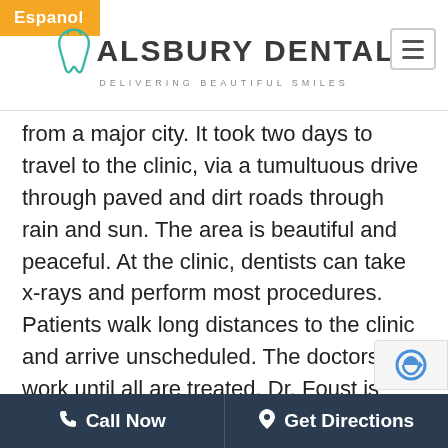Espanol | Alsbury Dental — Delivering Beautiful Smiles
from a major city. It took two days to travel to the clinic, via a tumultuous drive through paved and dirt roads through rain and sun. The area is beautiful and peaceful. At the clinic, dentists can take x-rays and perform most procedures. Patients walk long distances to the clinic and arrive unscheduled. The doctors work until all are treated. Dr. Foust is happy to serve the community and help those who are in need of dental treatment.

Dr. Blake Foust is a father of three
Call Now | Get Directions